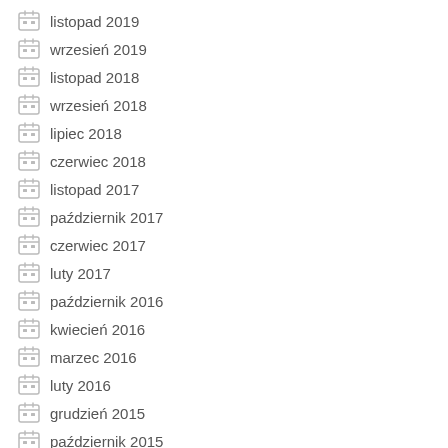listopad 2019
wrzesień 2019
listopad 2018
wrzesień 2018
lipiec 2018
czerwiec 2018
listopad 2017
październik 2017
czerwiec 2017
luty 2017
październik 2016
kwiecień 2016
marzec 2016
luty 2016
grudzień 2015
październik 2015